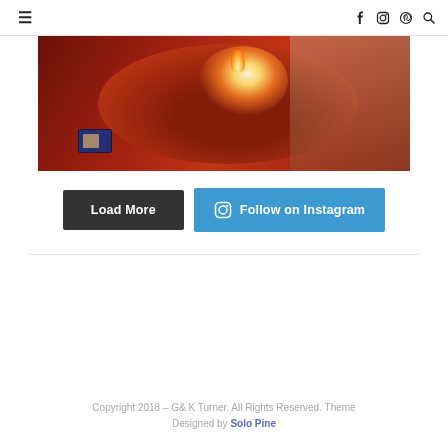≡   f  ⊙  P  🔍
[Figure (photo): Dark reddish-brown wooden bowl with a lit tealight candle glowing warmly inside, with a matchbox visible in the lower left corner]
Load More
Follow on Instagram
Copyright 2018 – G& K Turner. All Rights Reserved. Theme Designed by Solo Pine